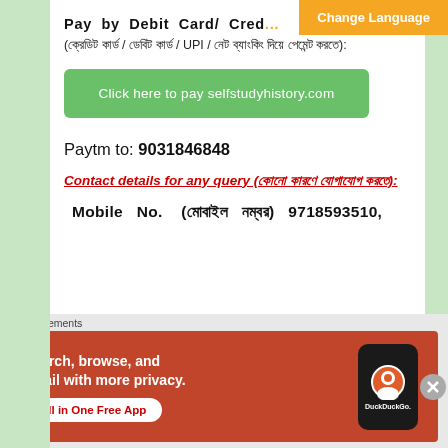Pay by Debit Card/ Cred... (ডেবিট কার্ড / ক্রেডিট কার্ড দিয়ে পেমেন্ট করতে):
[Figure (screenshot): Green button: Click here to pay selfstudyhistory.com]
Paytm to: 9031846848
Contact details for any query (কোনো কারণে যোগাযোগ করতে):
Mobile No. (মোবাইল নম্বর) 9718593510,
[Figure (screenshot): Advertisement banner for DuckDuckGo: Search, browse, and email with more privacy. All in One Free App.]